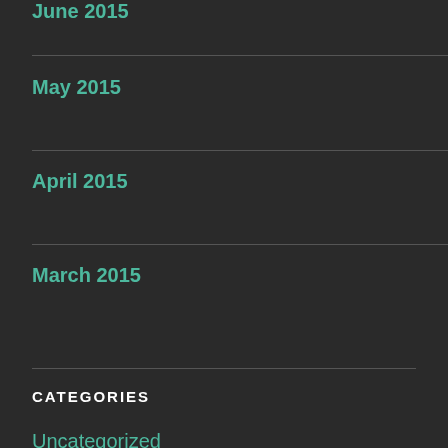June 2015
May 2015
April 2015
March 2015
CATEGORIES
Uncategorized
RECENT POSTS
Freak Academy: Are you the Heads of Mathematics…